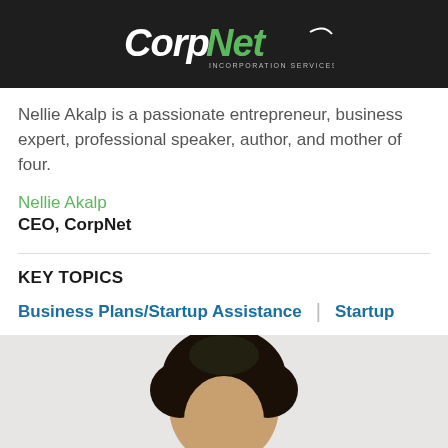[Figure (photo): Top portion of a person wearing a black CorpNet t-shirt, with CorpNet Incorporation Services logo visible]
Nellie Akalp is a passionate entrepreneur, business expert, professional speaker, author, and mother of four.
Nellie Akalp
CEO, CorpNet
KEY TOPICS
Business Plans/Startup Assistance | Startup
[Figure (photo): Bottom portion showing the head of a person with curly dark hair against a white/light background]